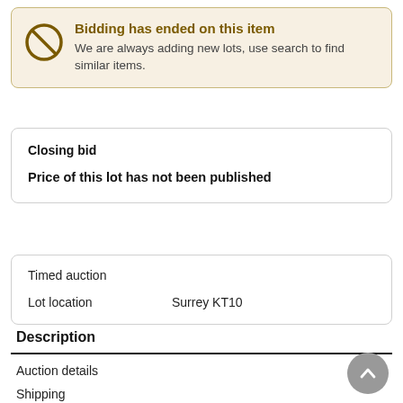Bidding has ended on this item. We are always adding new lots, use search to find similar items.
Closing bid
Price of this lot has not been published
Timed auction
Lot location   Surrey KT10
Description
Auction details
Shipping